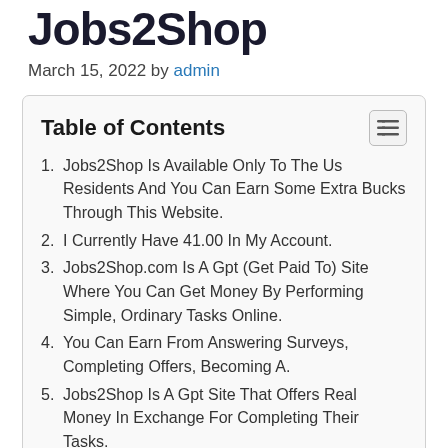Jobs2Shop
March 15, 2022 by admin
Table of Contents
1. Jobs2Shop Is Available Only To The Us Residents And You Can Earn Some Extra Bucks Through This Website.
2. I Currently Have 41.00 In My Account.
3. Jobs2Shop.com Is A Gpt (Get Paid To) Site Where You Can Get Money By Performing Simple, Ordinary Tasks Online.
4. You Can Earn From Answering Surveys, Completing Offers, Becoming A.
5. Jobs2Shop Is A Gpt Site That Offers Real Money In Exchange For Completing Their Tasks.